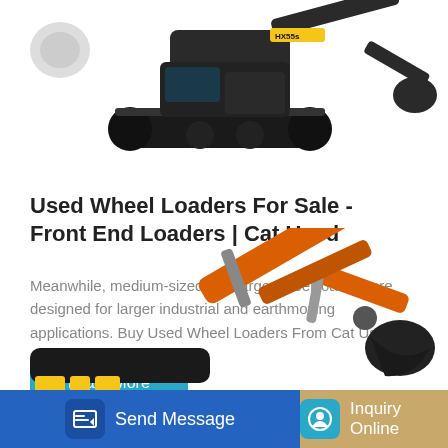[Figure (photo): Dark grey tracked excavator/mini excavator viewed from the side, partially cropped at the top of the page]
Used Wheel Loaders For Sale - Front End Loaders | Cat Used
Meanwhile, medium-sized and large wheel loaders are designed for larger industrial and earthmoving applications. Buy Used Wheel Loaders From Cat Used At Cat Used, we...
[Figure (other): Learn More button (teal/cyan rounded rectangle)]
[Figure (photo): Orange tracked excavator arm and boom partially visible, cropped at the bottom of the page]
[Figure (other): Bottom action bar with Send Message button (blue) and Inquiry Online button (tan/gold)]